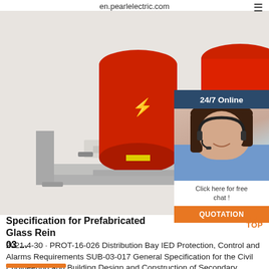en.pearlelectric.com
[Figure (photo): Industrial electrical equipment — three red cylindrical transformers or reactors mounted on a gray metal frame/rail assembly, with high-voltage warning symbols visible.]
[Figure (photo): 24/7 Online customer service panel showing a woman wearing a headset, with '24/7 Online' label, 'Click here for free chat!' text, and an orange QUOTATION button.]
Specification for Prefabricated Glass Rein 03 ...
2021-4-30 · PROT-16-026 Distribution Bay IED Protection, Control and Alarms Requirements SUB-03-017 General Specification for the Civil Engineering and Building Design and Construction of Secondary Substations ASSET-01-023 Substation Security Policy TRAN-03-021 Specification for Distribution Transformers 6.6kV-11kV, 25kVA-1000kVA